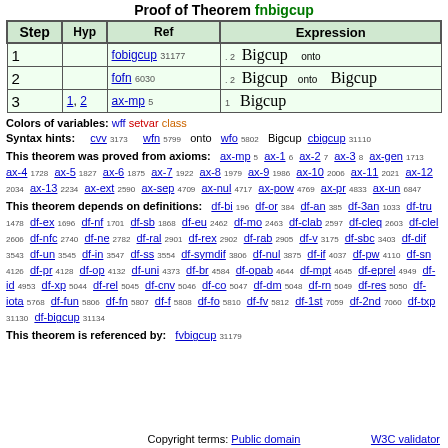Proof of Theorem fnbigcup
| Step | Hyp | Ref | Expression |
| --- | --- | --- | --- |
| 1 |  | fobigcup 31177 | . 2  Bigcup  onto |
| 2 |  | fofn 6030 | . 2  Bigcup  onto  Bigcup |
| 3 | 1, 2 | ax-mp 5 | 1  Bigcup |
Colors of variables: wff setvar class
Syntax hints: cvv 3173  wfn 5799  onto  wfo 5802  Bigcup  cbigcup 31110
This theorem was proved from axioms: ax-mp 5 ax-1 6 ax-2 7 ax-3 8 ax-gen 1713 ax-4 1728 ax-5 1827 ax-6 1875 ax-7 1922 ax-8 1979 ax-9 1986 ax-10 2006 ax-11 2021 ax-12 2034 ax-13 2234 ax-ext 2590 ax-sep 4709 ax-nul 4717 ax-pow 4769 ax-pr 4833 ax-un 6847
This theorem depends on definitions: df-bi 196 df-or 384 df-an 385 df-3an 1033 df-tru 1478 df-ex 1696 df-nf 1701 df-sb 1868 df-eu 2462 df-mo 2463 df-clab 2597 df-cleq 2603 df-clel 2606 df-nfc 2740 df-ne 2782 df-ral 2901 df-rex 2902 df-rab 2905 df-v 3175 df-sbc 3403 df-dif 3543 df-un 3545 df-in 3547 df-ss 3554 df-symdif 3806 df-nul 3875 df-if 4037 df-pw 4110 df-sn 4126 df-pr 4128 df-op 4132 df-uni 4373 df-br 4584 df-opab 4644 df-mpt 4645 df-eprel 4949 df-id 4953 df-xp 5044 df-rel 5045 df-cnv 5046 df-co 5047 df-dm 5048 df-rn 5049 df-res 5050 df-iota 5768 df-fun 5806 df-fn 5807 df-f 5808 df-fo 5810 df-fv 5812 df-1st 7059 df-2nd 7060 df-txp 31130 df-bigcup 31134
This theorem is referenced by: fvbigcup 31179
Copyright terms: Public domain    W3C validator